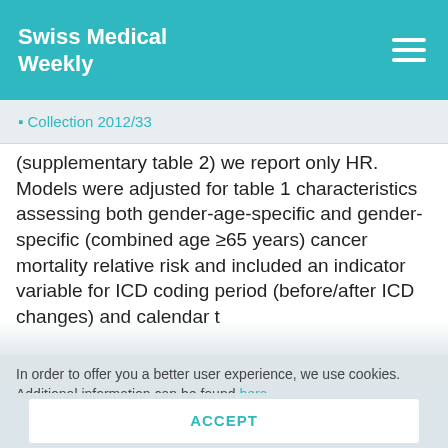Swiss Medical Weekly
◾ Collection 2012/33
(supplementary table 2) we report only HR. Models were adjusted for table 1 characteristics assessing both gender-age-specific and gender-specific (combined age ≥65 years) cancer mortality relative risk and included an indicator variable for ICD coding period (before/after ICD changes) and calendar t…
In order to offer you a better user experience, we use cookies. Additional information can be found here..
ACCEPT